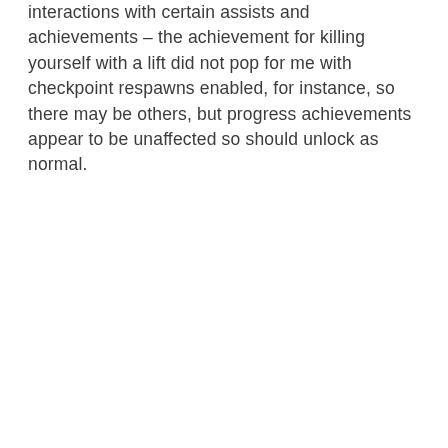interactions with certain assists and achievements – the achievement for killing yourself with a lift did not pop for me with checkpoint respawns enabled, for instance, so there may be others, but progress achievements appear to be unaffected so should unlock as normal.